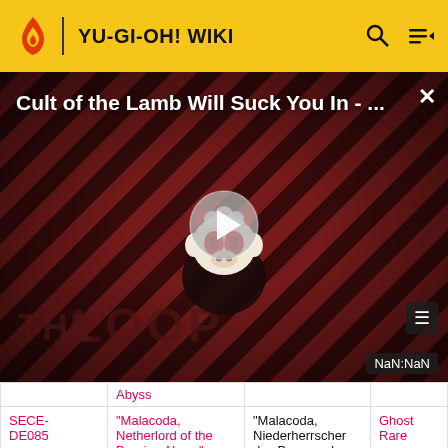YU-GI-OH! WIKI
[Figure (screenshot): Video overlay with title 'Cult of the Lamb Will Suck You In - ...' on a red diagonal striped background with 'THE LOOP' branding and a play button, showing NaN:NaN timestamp]
|  |  |  |  |
| --- | --- | --- | --- |
| SECE-DE085 | "Malacoda, Netherlord of the Burning Abyss" | "Malacoda, Niederherrscher des Brennenden Abgrunds" | Ghost Rare |
| SECE- | "Good & Evil in | "Das Gute und das | Supe |